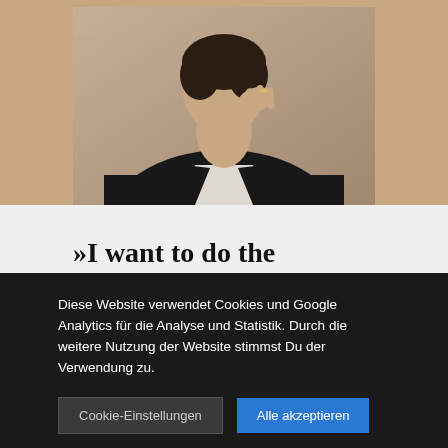[Figure (photo): Close-up photo of a person wearing a dark jacket over a white shirt, with their hand raised near their face, photographed against a textured background]
»I want to do the opposite of what people expect.«
Diese Website verwendet Cookies und Google Analytics für die Analyse und Statistik. Durch die weitere Nutzung der Website stimmst Du der Verwendung zu.